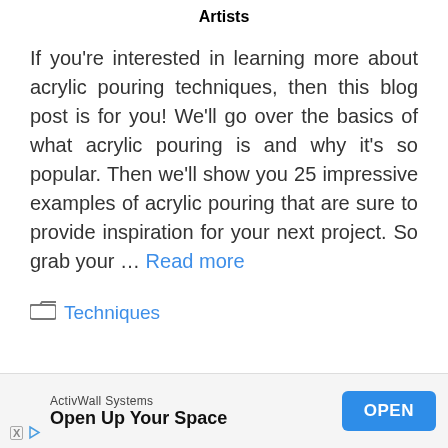Artists
If you’re interested in learning more about acrylic pouring techniques, then this blog post is for you! We’ll go over the basics of what acrylic pouring is and why it’s so popular. Then we’ll show you 25 impressive examples of acrylic pouring that are sure to provide inspiration for your next project. So grab your … Read more
Techniques
ActivWall Systems Open Up Your Space OPEN